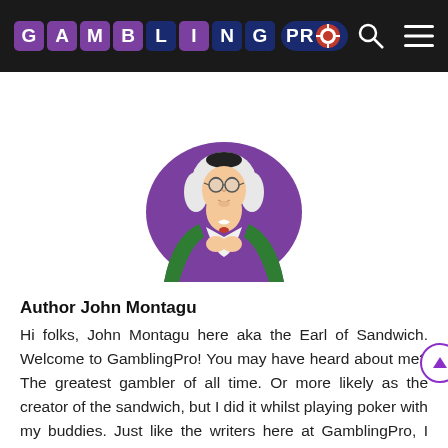GAMBLING PRO
[Figure (illustration): Cartoon illustration of John Montagu (Earl of Sandwich) as an 18th century gentleman with white powdered wig, round spectacles, white cravat, and purple/green jacket, hands clasped together, set against a purple oval background]
Author John Montagu
Hi folks, John Montagu here aka the Earl of Sandwich. Welcome to GamblingPro! You may have heard about me? The greatest gambler of all time. Or more likely as the creator of the sandwich, but I did it whilst playing poker with my buddies. Just like the writers here at GamblingPro, I always loved to gamble. Whether it be cards, roulette